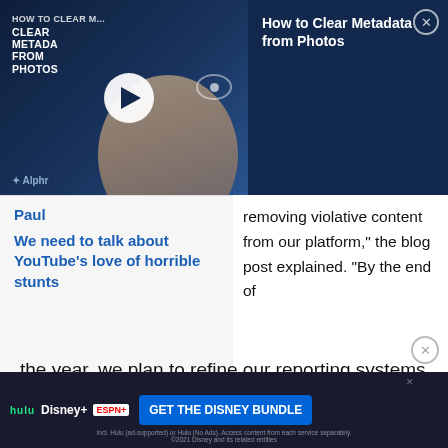[Figure (screenshot): Video thumbnail for 'How to Clear Metadata from Photos' on dark navy background with play button, person at computer, and Alphr logo]
How to Clear Metadata from Photos
Paul
We need to talk about YouTube's love of horrible stunts
removing violative content from our platform,” the blog post explained. “By the end of the year, we plan to refine our reporting systems and add additional data, including data on comments, speed of removal, and policy removal reasons.”
[Figure (screenshot): Advertisement banner for Disney Bundle featuring Hulu, Disney+, and ESPN+ logos with 'GET THE DISNEY BUNDLE' CTA button]